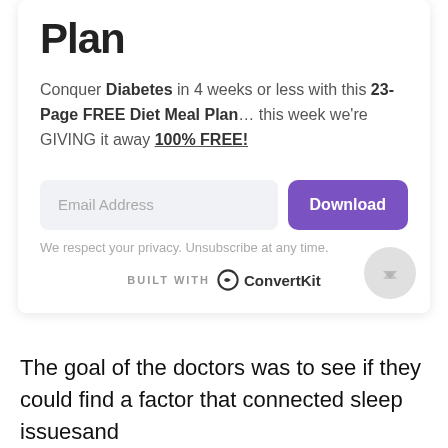Plan
Conquer Diabetes in 4 weeks or less with this 23-Page FREE Diet Meal Plan… this week we're GIVING it away 100% FREE!
Email Address
Download
We respect your privacy. Unsubscribe at any time.
BUILT WITH ConvertKit
The goal of the doctors was to see if they could find a factor that connected sleep issuesand